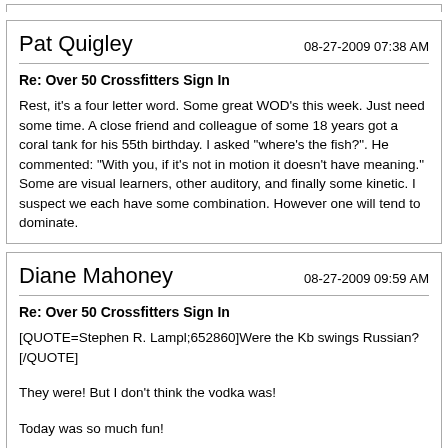Pat Quigley
08-27-2009 07:38 AM
Re: Over 50 Crossfitters Sign In
Rest, it's a four letter word. Some great WOD's this week. Just need some time. A close friend and colleague of some 18 years got a coral tank for his 55th birthday. I asked "where's the fish?". He commented: "With you, if it's not in motion it doesn't have meaning." Some are visual learners, other auditory, and finally some kinetic. I suspect we each have some combination. However one will tend to dominate.
Diane Mahoney
08-27-2009 09:59 AM
Re: Over 50 Crossfitters Sign In
[QUOTE=Stephen R. Lampl;652860]Were the Kb swings Russian? [/QUOTE]
They were! But I don't think the vodka was!
Today was so much fun!
Thursday 8/27/2009
For Time:
30 BW Back Squats
100 Sit-u...